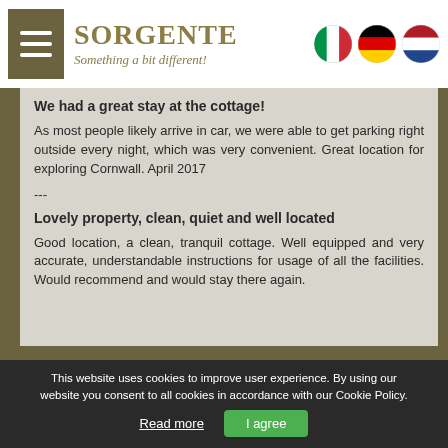[Figure (logo): SORGENTE logo with tagline 'Something a bit different!' and navigation flags for Italy, Germany, Netherlands]
We had a great stay at the cottage!
As most people likely arrive in car, we were able to get parking right outside every night, which was very convenient. Great location for exploring Cornwall. April 2017
---
Lovely property, clean, quiet and well located
Good location, a clean, tranquil cottage. Well equipped and very accurate, understandable instructions for usage of all the facilities. Would recommend and would stay there again.
This website uses cookies to improve user experience. By using our website you consent to all cookies in accordance with our Cookie Policy.